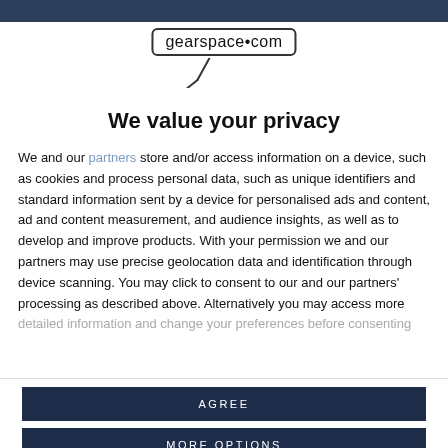[Figure (logo): gearspace.com logo with microphone graphic below]
We value your privacy
We and our partners store and/or access information on a device, such as cookies and process personal data, such as unique identifiers and standard information sent by a device for personalised ads and content, ad and content measurement, and audience insights, as well as to develop and improve products. With your permission we and our partners may use precise geolocation data and identification through device scanning. You may click to consent to our and our partners' processing as described above. Alternatively you may access more detailed information and change your preferences before consenting
AGREE
MORE OPTIONS
time getting the recorder man setup. I think what I need is to